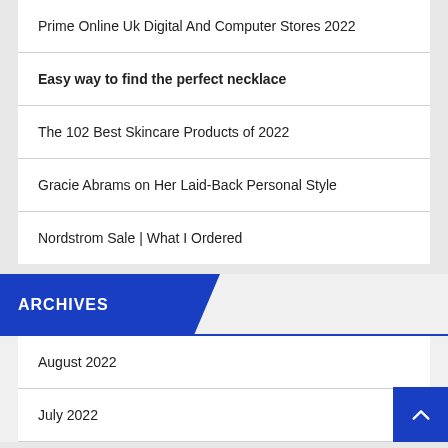Prime Online Uk Digital And Computer Stores 2022
Easy way to find the perfect necklace
The 102 Best Skincare Products of 2022
Gracie Abrams on Her Laid-Back Personal Style
Nordstrom Sale | What I Ordered
ARCHIVES
August 2022
July 2022